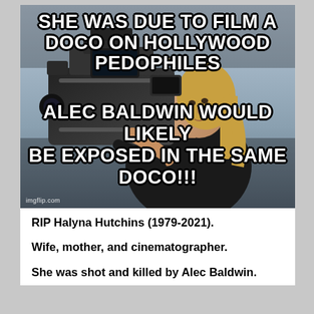[Figure (photo): Meme image showing a woman (Halyna Hutchins) holding a large professional camera rig, looking upward. Bold white text with black outline overlaid on the image reads: 'SHE WAS DUE TO FILM A DOCO ON HOLLYWOOD PEDOPHILES' at the top, and 'ALEC BALDWIN WOULD LIKELY BE EXPOSED IN THE SAME DOCO!!!' at the bottom. imgflip.com watermark in bottom left.]
RIP Halyna Hutchins (1979-2021).
Wife, mother, and cinematographer.
She was shot and killed by Alec Baldwin.